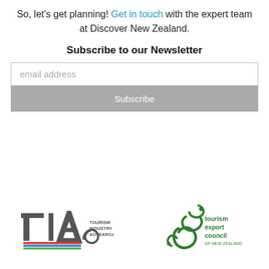So, let's get planning! Get in touch with the expert team at Discover New Zealand.
Subscribe to our Newsletter
[Figure (other): Email subscription form with an email address input field and a Subscribe button]
[Figure (logo): Tourism Industry Aotearoa (TIA) logo]
[Figure (logo): Tourism Export Council of New Zealand logo]